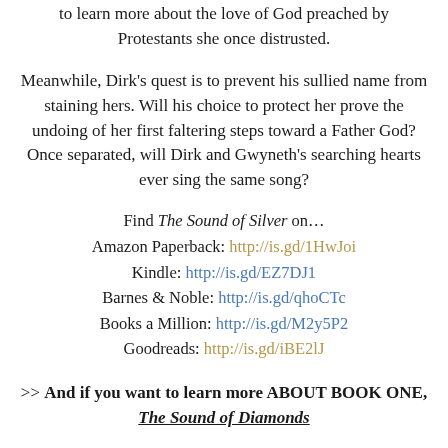to learn more about the love of God preached by Protestants she once distrusted.
Meanwhile, Dirk's quest is to prevent his sullied name from staining hers. Will his choice to protect her prove the undoing of her first faltering steps toward a Father God? Once separated, will Dirk and Gwyneth's searching hearts ever sing the same song?
Find The Sound of Silver on… Amazon Paperback: http://is.gd/1HwJoi Kindle: http://is.gd/EZ7DJ1 Barnes & Noble: http://is.gd/qhoCTc Books a Million: http://is.gd/M2y5P2 Goodreads: http://is.gd/iBE2lJ
>> And if you want to learn more ABOUT BOOK ONE, The Sound of Diamonds
Her only chance of getting home is trusting the man she hates.
With the protestant Elizabeth on the throne of England and her family in shambles, Catholic maiden Gwyneth